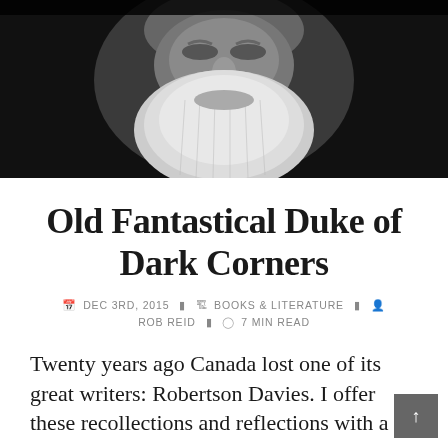[Figure (photo): Black and white portrait photograph of an elderly man with a long white beard, cropped to show face and upper beard area against a dark background]
Old Fantastical Duke of Dark Corners
DEC 3RD, 2015  BOOKS & LITERATURE  ROB REID  7 MIN READ
Twenty years ago Canada lost one of its great writers: Robertson Davies. I offer these recollections and reflections with a